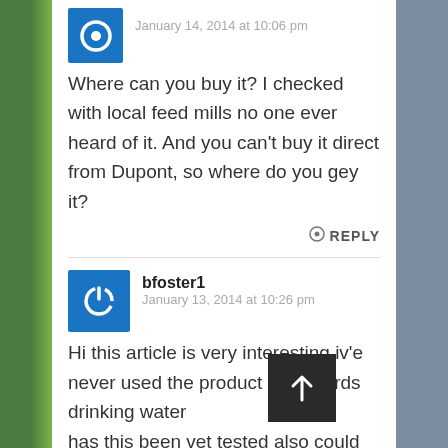January 14, 2014 at 10:06 pm
Where can you buy it? I checked with local feed mills no one ever heard of it. And you can't buy it direct from Dupont, so where do you gey it?
REPLY
bfoster1
January 13, 2014 at 10:26 pm
Hi this article is very interesting iv'e never used the product in the birds drinking water has this been vet tested also could this be given afte the races for young birds it is always the first or second week that young bird